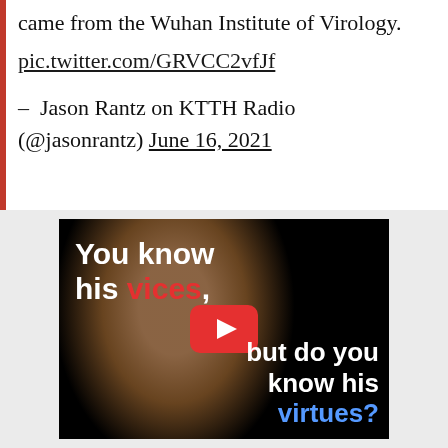came from the Wuhan Institute of Virology.
pic.twitter.com/GRVCC2vfJf
– Jason Rantz on KTTH Radio (@jasonrantz) June 16, 2021
[Figure (screenshot): Video thumbnail showing a person's silhouette with text overlay: 'You know his vices, but do you know his virtues?' with a YouTube play button in the center.]